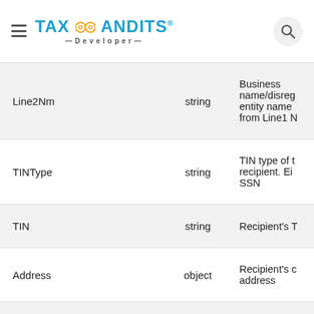TAX BANDITS Developer
| Field | Type | Description |
| --- | --- | --- |
| Line2Nm | string | Business name/disregarded entity name from Line1 N... |
| TINType | string | TIN type of the recipient. Either EIN or SSN |
| TIN | string | Recipient's T... |
| Address | object | Recipient's complete address |
| Address1 | string | Recipient's A... |